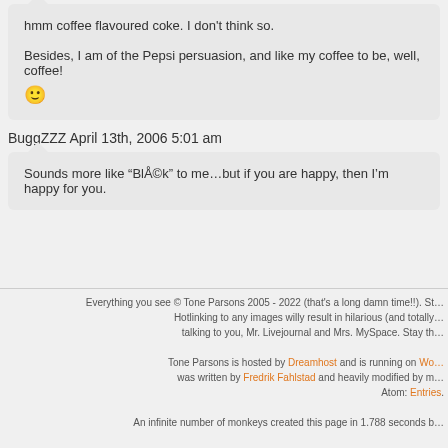hmm coffee flavoured coke. I don't think so.

Besides, I am of the Pepsi persuasion, and like my coffee to be, well, coffee!

🙂
BuggZZZ April 13th, 2006 5:01 am
Sounds more like "BlÅ©k" to me…but if you are happy, then I'm happy for you.
Everything you see © Tone Parsons 2005 - 2022 (that's a long damn time!!). St... Hotlinking to any images willy result in hilarious (and totally... talking to you, Mr. Livejournal and Mrs. MySpace. Stay th...

Tone Parsons is hosted by Dreamhost and is running on Wo... was written by Fredrik Fahlstad and heavily modified by m... Atom: Entries.

An infinite number of monkeys created this page in 1.788 seconds b...

All view expressed are mine and mine alone. T... the views any employer of mine (past or prese... anything to do with rational, intlege...